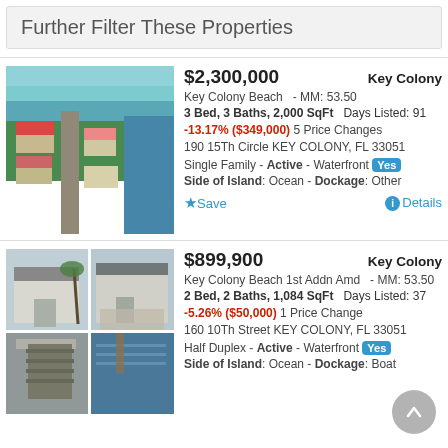Further Filter These Properties
[Figure (photo): Aerial view of Key Colony Beach waterfront neighborhood with ocean in background]
$2,300,000   Key Colony
Key Colony Beach  - MM: 53.50
3 Bed, 3 Baths, 2,000 SqFt  Days Listed: 91
-13.17% ($349,000) 5 Price Changes
190 15Th Circle KEY COLONY, FL 33051
Single Family - Active - Waterfront Yes
Side of Island: Ocean - Dockage: Other
[Figure (photo): Four-photo grid of Key Colony Beach half duplex property showing exterior, driveway, and waterfront views]
$899,900   Key Colony
Key Colony Beach 1st Addn Amd  - MM: 53.50
2 Bed, 2 Baths, 1,084 SqFt  Days Listed: 37
-5.26% ($50,000) 1 Price Change
160 10Th Street KEY COLONY, FL 33051
Half Duplex - Active - Waterfront Yes
Side of Island: Ocean - Dockage: Boat